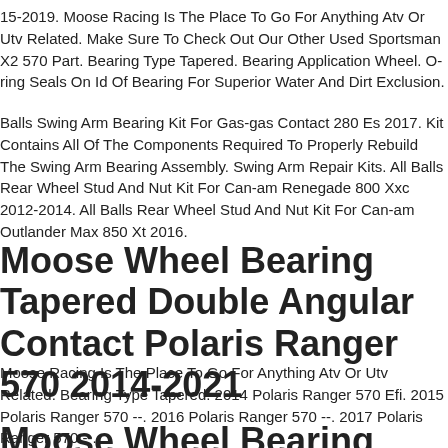15-2019. Moose Racing Is The Place To Go For Anything Atv Or Utv Related. Make Sure To Check Out Our Other Used Sportsman X2 570 Part. Bearing Type Tapered. Bearing Application Wheel. O-ring Seals On Id Of Bearing For Superior Water And Dirt Exclusion.
Balls Swing Arm Bearing Kit For Gas-gas Contact 280 Es 2017. Kit Contains All Of The Components Required To Properly Rebuild The Swing Arm Bearing Assembly. Swing Arm Repair Kits. All Balls Rear Wheel Stud And Nut Kit For Can-am Renegade 800 Xxc 2012-2014. All Balls Rear Wheel Stud And Nut Kit For Can-am Outlander Max 850 Xt 2016.
Moose Wheel Bearing Tapered Double Angular Contact Polaris Ranger 570 2014-2021
Moose Racing Is The Place To Go For Anything Atv Or Utv Related. Bearing Type Tapered. 2014 Polaris Ranger 570 Efi. 2015 Polaris Ranger 570 --. 2016 Polaris Ranger 570 --. 2017 Polaris Ranger 570 --.
Moose Wheel Bearing Tapered